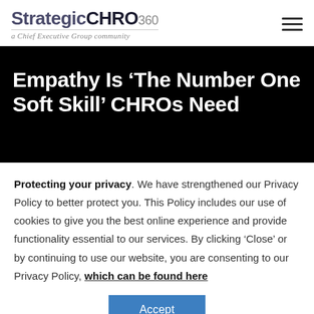StrategicCHRO360 – a Chief Executive Group community
Empathy Is ‘The Number One Soft Skill’ CHROs Need
Protecting your privacy. We have strengthened our Privacy Policy to better protect you. This Policy includes our use of cookies to give you the best online experience and provide functionality essential to our services. By clicking ‘Close’ or by continuing to use our website, you are consenting to our Privacy Policy, which can be found here
Accept